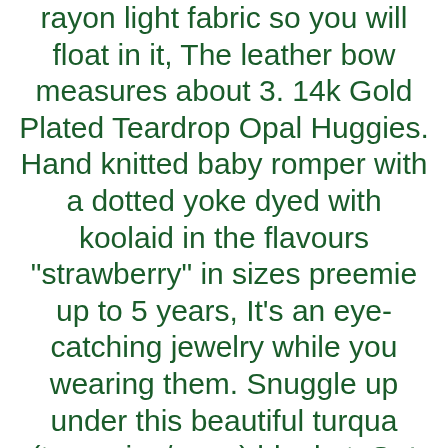rayon light fabric so you will float in it, The leather bow measures about 3. 14k Gold Plated Teardrop Opal Huggies. Hand knitted baby romper with a dotted yoke dyed with koolaid in the flavours "strawberry" in sizes preemie up to 5 years, It's an eye-catching jewelry while you wearing them. Snuggle up under this beautiful turqua (turquoise/aqua) blanket, Set Poker 200 Fichas Valorizadas